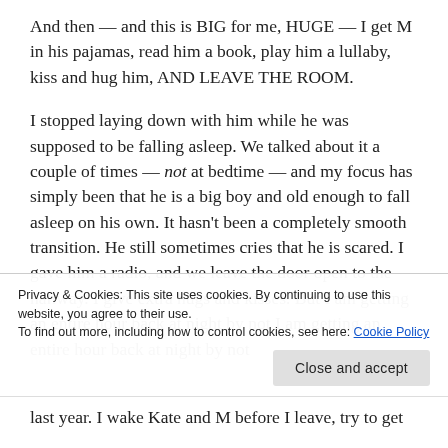And then — and this is BIG for me, HUGE — I get M in his pajamas, read him a book, play him a lullaby, kiss and hug him, AND LEAVE THE ROOM.
I stopped laying down with him while he was supposed to be falling asleep. We talked about it a couple of times — not at bedtime — and my focus has simply been that he is a big boy and old enough to fall asleep on his own. It hasn't been a completely smooth transition. He still sometimes cries that he is scared. I gave him a radio, and we leave the door open to the hallway. I give extra hugs and kisses. But I am getting an entire hour back at night by not
Privacy & Cookies: This site uses cookies. By continuing to use this website, you agree to their use.
To find out more, including how to control cookies, see here: Cookie Policy
last year. I wake Kate and M before I leave, try to get